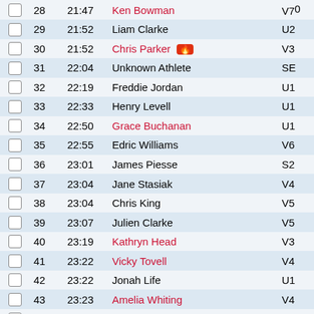|  | Pos | Time | Name | Cat |
| --- | --- | --- | --- | --- |
|  | 28 | 21:47 | Ken Bowman | V70 |
|  | 29 | 21:52 | Liam Clarke | U2 |
|  | 30 | 21:52 | Chris Parker 🔥 | V35 |
|  | 31 | 22:04 | Unknown Athlete | SE |
|  | 32 | 22:19 | Freddie Jordan | U1 |
|  | 33 | 22:33 | Henry Levell | U1 |
|  | 34 | 22:50 | Grace Buchanan | U1 |
|  | 35 | 22:55 | Edric Williams | V65 |
|  | 36 | 23:01 | James Piesse | S25 |
|  | 37 | 23:04 | Jane Stasiak | V45 |
|  | 38 | 23:04 | Chris King | V55 |
|  | 39 | 23:07 | Julien Clarke | V55 |
|  | 40 | 23:19 | Kathryn Head | V35 |
|  | 41 | 23:22 | Vicky Tovell | V45 |
|  | 42 | 23:22 | Jonah Life | U1 |
|  | 43 | 23:23 | Amelia Whiting | V40 |
|  | 44 | 23:25 | Will Levell | U2 |
|  | 45 | 23:32 | Theo Pagan | U1 |
|  | 46 | 23:34 | Elliott Auld | U1 |